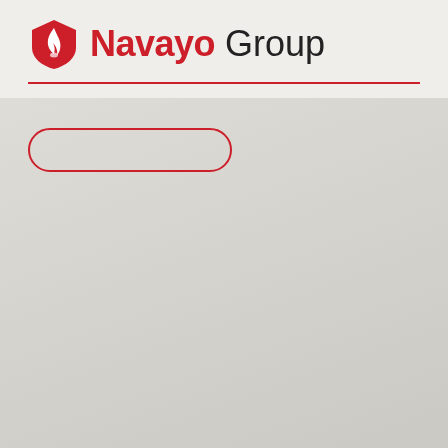[Figure (logo): Navayo Group logo with red shield containing a white shell icon, followed by bold red 'Navayo' and light black 'Group' text]
[Figure (other): Empty rounded rectangle (pill shape) outlined in red, positioned below the header rule]